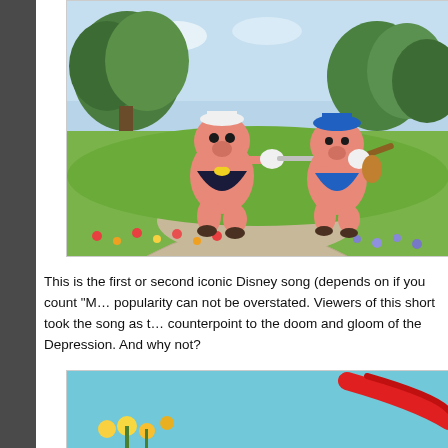[Figure (photo): Disney cartoon still showing two anthropomorphic pigs dancing/walking on a road, one playing a flute wearing a sailor hat and dark vest with yellow bow, the other carrying a fiddle wearing a blue cap. Background shows trees, flowers, and a garden path.]
This is the first or second iconic Disney song (depends on if you count "M… popularity can not be overstated. Viewers of this short took the song as t… counterpoint to the doom and gloom of the Depression. And why not?
[Figure (photo): Second Disney cartoon still, partially visible, showing what appears to be flowers and a red object against a light blue/teal background.]